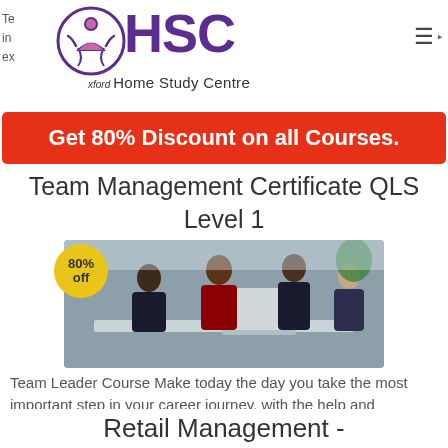HSC Oxford Home Study Centre
Te
in
ex
Get 80% Discount on all Courses.
Team Management Certificate QLS Level 1
[Figure (photo): Group of business professionals gathered around a laptop in an office setting, with an 80% off badge overlay]
Team Leader Course Make today the day you take the most important step in your career journey, with the help and support...
Find out more ❯
Retail Management -